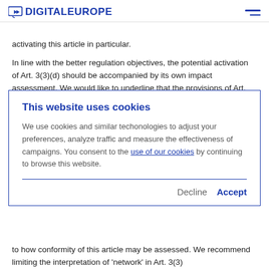DIGITALEUROPE
activating this article in particular.
In line with the better regulation objectives, the potential activation of Art. 3(3)(d) should be accompanied by its own impact assessment. We would like to underline that the provisions of Art. 3(3)(d) have not been covered explicitly in
This website uses cookies
We use cookies and similar techonologies to adjust your preferences, analyze traffic and measure the effectiveness of campaigns. You consent to the use of our cookies by continuing to browse this website.
Decline  Accept
to how conformity of this article may be assessed. We recommend limiting the interpretation of 'network' in Art. 3(3)